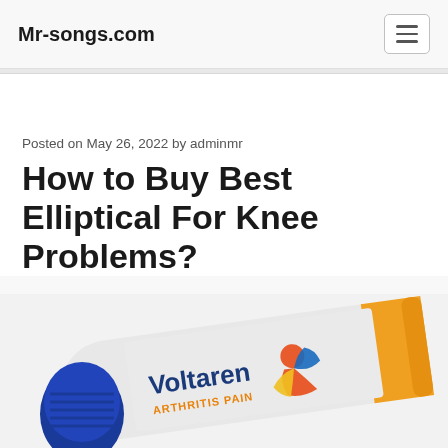Mr-songs.com
Posted on May 26, 2022 by adminmr
How to Buy Best Elliptical For Knee Problems?
[Figure (photo): Voltaren Arthritis Pain gel tube with blue cap, silver and orange packaging, with Voltaren logo and a figure in motion]